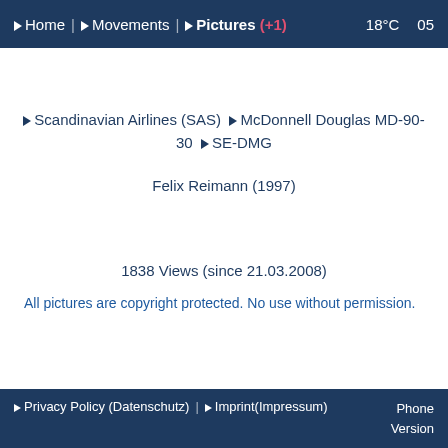► Home | ► Movements | ► Pictures (+1)   18°C   05
► Scandinavian Airlines (SAS) ► McDonnell Douglas MD-90-30 ► SE-DMG
Felix Reimann (1997)
1838 Views (since 21.03.2008)
All pictures are copyright protected. No use without permission.
► Privacy Policy (Datenschutz) | ► Imprint (Impressum)   Phone Version